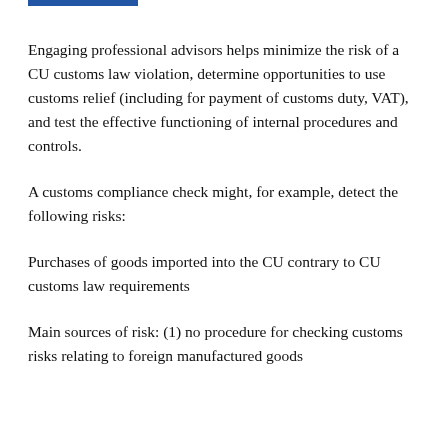Engaging professional advisors helps minimize the risk of a CU customs law violation, determine opportunities to use customs relief (including for payment of customs duty, VAT), and test the effective functioning of internal procedures and controls.
A customs compliance check might, for example, detect the following risks:
Purchases of goods imported into the CU contrary to CU customs law requirements
Main sources of risk: (1) no procedure for checking customs risks relating to foreign manufactured goods